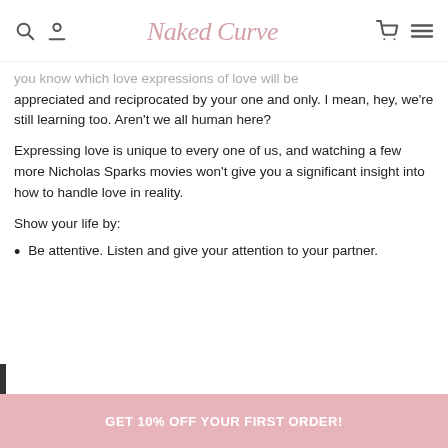Naked Curve
you know which love expressions of love will be appreciated and reciprocated by your one and only. I mean, hey, we're still learning too. Aren't we all human here?
Expressing love is unique to every one of us, and watching a few more Nicholas Sparks movies won't give you a significant insight into how to handle love in reality.
Show your life by:
Be attentive. Listen and give your attention to your partner.
GET 10% OFF YOUR FIRST ORDER!